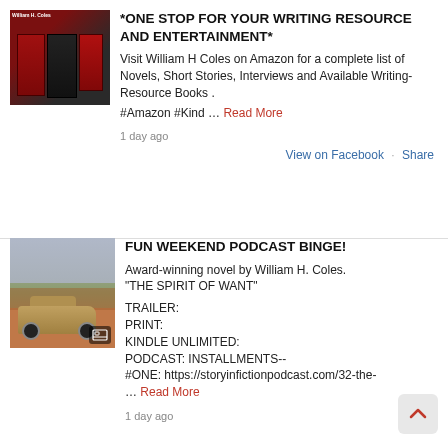[Figure (photo): Book covers for William H. Coles novels]
*ONE STOP FOR YOUR WRITING RESOURCE AND ENTERTAINMENT*
Visit William H Coles on Amazon for a complete list of Novels, Short Stories, Interviews and Available Writing-Resource Books .
#Amazon #Kind ... Read More
1 day ago
View on Facebook · Share
[Figure (photo): Car parked on dirt road in village setting with cloudy sky]
FUN WEEKEND PODCAST BINGE!
Award-winning novel by William H. Coles. "THE SPIRIT OF WANT"
TRAILER:
PRINT:
KINDLE UNLIMITED:
PODCAST: INSTALLMENTS--
#ONE: https://storyinfictionpodcast.com/32-the-
... Read More
1 day ago